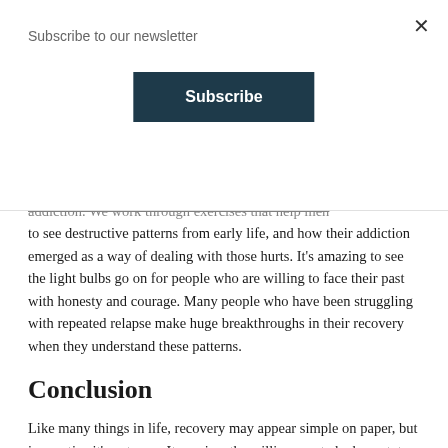Subscribe to our newsletter
Subscribe
addiction. We work through exercises that help men to see destructive patterns from early life, and how their addiction emerged as a way of dealing with those hurts. It's amazing to see the light bulbs go on for people who are willing to face their past with honesty and courage. Many people who have been struggling with repeated relapse make huge breakthroughs in their recovery when they understand these patterns.
Conclusion
Like many things in life, recovery may appear simple on paper, but in practice it's not easy. It requires the willingness to be honest, to end isolation, and to